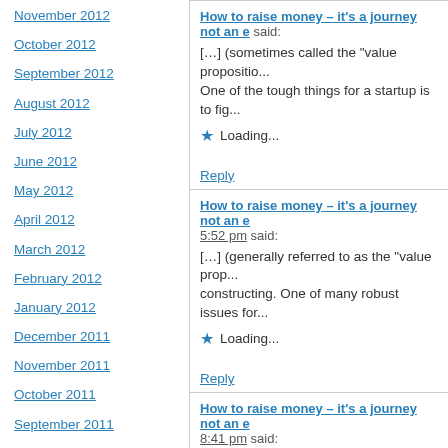November 2012
October 2012
September 2012
August 2012
July 2012
June 2012
May 2012
April 2012
March 2012
February 2012
January 2012
December 2011
November 2011
October 2011
September 2011
August 2011
How to raise money – it's a journey not an e... said: [...] (sometimes called the "value propositio... One of the tough things for a startup is to fig... Loading... Reply
How to raise money – it's a journey not an e... 5:52 pm said: [...] (generally referred to as the "value prop... constructing. One of many robust issues for... Loading... Reply
How to raise money – it's a journey not an e... 8:41 pm said: [...] (typically known as the "value propositio... constructing. One of many robust issues for... Loading...